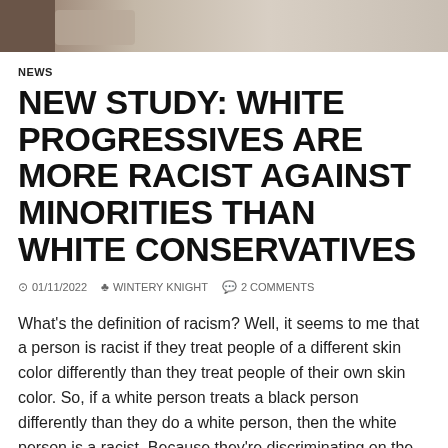[Figure (photo): Partial photo strip at the top of the page showing a blurred outdoor scene]
NEWS
NEW STUDY: WHITE PROGRESSIVES ARE MORE RACIST AGAINST MINORITIES THAN WHITE CONSERVATIVES
01/11/2022  WINTERY KNIGHT  2 COMMENTS
What's the definition of racism? Well, it seems to me that a person is racist if they treat people of a different skin color differently than they treat people of their own skin color. So, if a white person treats a black person differently than they do a white person, then the white person is a racist. Because they're discriminating on the basis of skin color. So, it seems to me that...